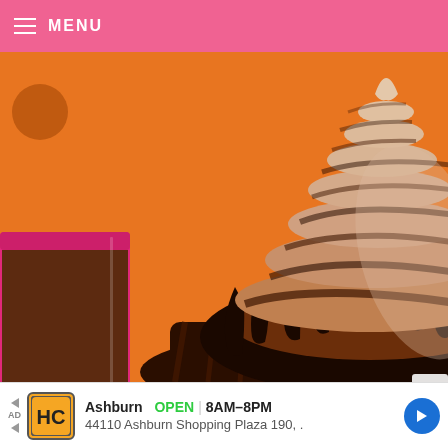MENU
[Figure (photo): Close-up photo of a chocolate cupcake with tall swirled chocolate and vanilla soft-serve ice cream frosting coated in dark chocolate ganache, on an orange background, with a pink cup of chocolate sauce on the left]
X
Ashburn  OPEN  8AM–8PM  44110 Ashburn Shopping Plaza 190,